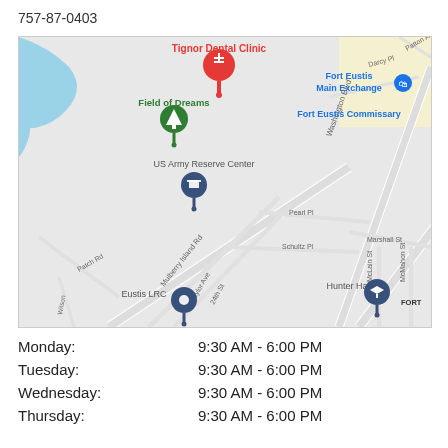757-87-0403
[Figure (map): Google Maps screenshot showing the area around Tignor Dental Clinic, Fort Eustis, VA. Landmarks visible include: Tignor Dental Clinic (red pin), Field of Dreams (green pin), US Army Reserve Center (blue pin), Fort Eustis Main Exchange, Fort Eustis Commissary, Hunter Hall, Eustis LRC. Streets visible: Washington Blvd, Marshall St, Mulberry Island Rd, Taylor Ave, 24th St, Pearl Pl, Schultz Pl, Patch Rd, Darcy Pl, Patton Ave, McLain St, McMahon St.]
Monday: 9:30 AM - 6:00 PM
Tuesday: 9:30 AM - 6:00 PM
Wednesday: 9:30 AM - 6:00 PM
Thursday: 9:30 AM - 6:00 PM